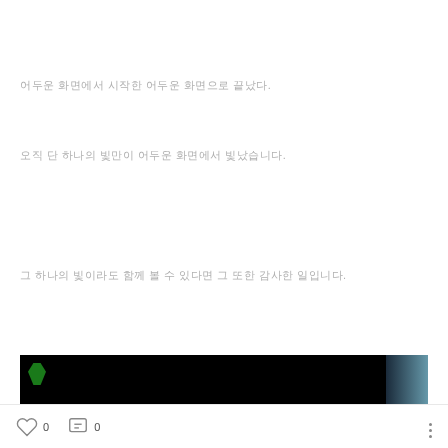어두운 화면에서 시작한 어두운 화면으로 끝났다.
오직 단 하나의 빛만이 어두운 화면에서 빛났습니다.
그 하나의 빛이라도 함께 볼 수 있다면 그 또한 감사한 일입니다.
[Figure (photo): Dark black background with a small green shape on the left and a blue-grey strip on the right edge]
0  0